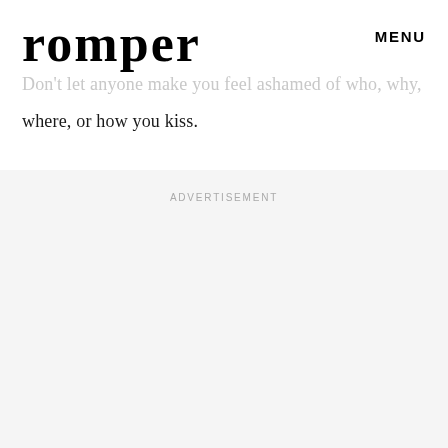romper   MENU
Don't let anyone make you feel ashamed of who, why, where, or how you kiss.
ADVERTISEMENT